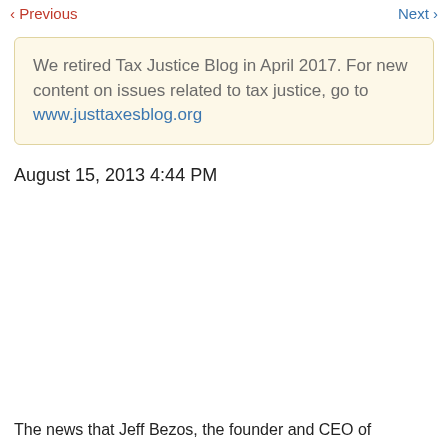< Previous   Next >
We retired Tax Justice Blog in April 2017. For new content on issues related to tax justice, go to www.justtaxesblog.org
August 15, 2013 4:44 PM
The news that Jeff Bezos, the founder and CEO of